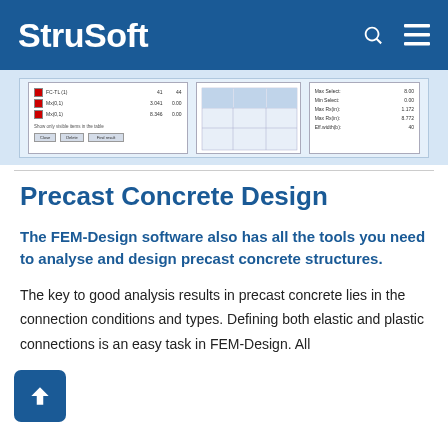StruSoft
[Figure (screenshot): Screenshot of FEM-Design software interface showing a dialog with load case selections and checkboxes, a grid/table area, and a results panel with numeric values.]
Precast Concrete Design
The FEM-Design software also has all the tools you need to analyse and design precast concrete structures.
The key to good analysis results in precast concrete lies in the connection conditions and types. Defining both elastic and plastic connections is an easy task in FEM-Design. All